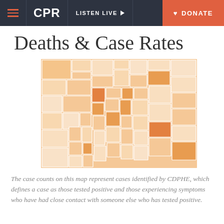CPR | LISTEN LIVE | DONATE
Deaths & Case Rates
[Figure (map): Choropleth map of Colorado counties showing COVID-19 deaths and case rates, colored in varying shades of orange/peach indicating different levels of cases per county. Darker orange counties indicate higher rates, lighter peach counties indicate lower rates.]
The case counts on this map represent cases identified by CDPHE, which defines a case as those tested positive and those experiencing symptoms who have had close contact with someone else who has tested positive.